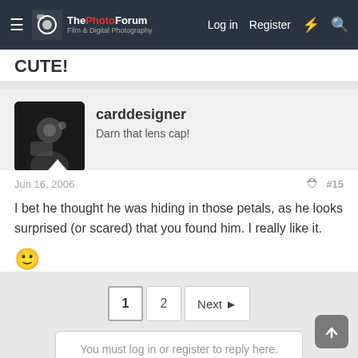ThePhotoForum — Log in  Register
CUTE!
carddesigner
Darn that lens cap!
Jun 16, 2006  #15
I bet he thought he was hiding in those petals, as he looks surprised (or scared) that you found him. I really like it. 🙂
1  2  Next ▶
You must log in or register to reply here.